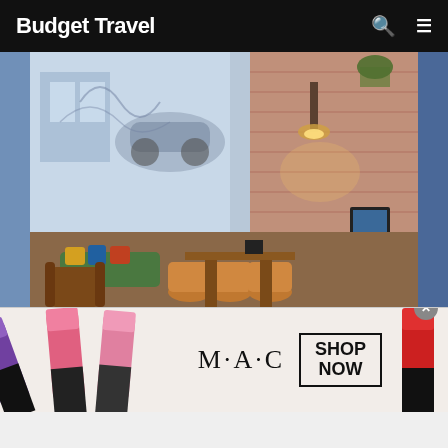Budget Travel
[Figure (photo): Interior of a trendy hotel lounge/bar with murals, brick walls, colorful seating, leather chairs, barrel stools, and warm pendant lighting]
GROUPON
Historic 4-star Hotel in Chicago - $113
[Figure (photo): M·A·C cosmetics advertisement showing lipsticks in purple, pink, and red shades with SHOP NOW call to action]